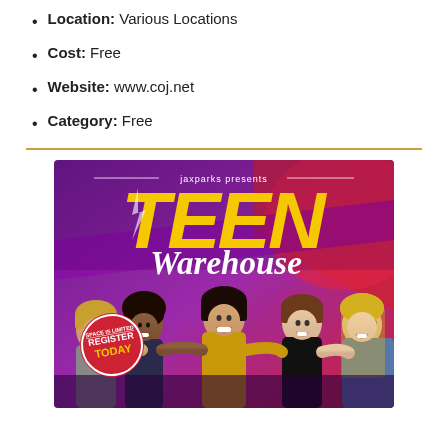Location: Various Locations
Cost: Free
Website: www.coj.net
Category: Free
[Figure (illustration): Teen Warehouse promotional poster by jaxparks featuring five smiling teenagers with text 'jaxparks presents TEEN Warehouse' and a badge saying 'SPACE IS LIMITED REGISTER TODAY']